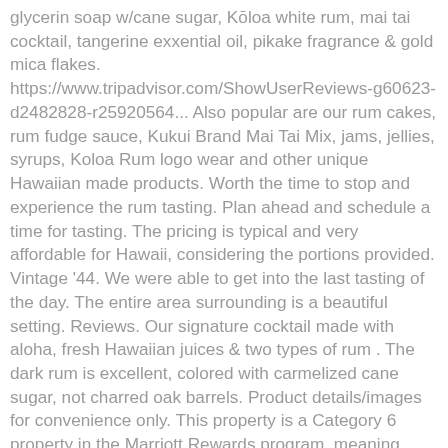glycerin soap w/cane sugar, Kōloa white rum, mai tai cocktail, tangerine exxential oil, pikake fragrance & gold mica flakes. https://www.tripadvisor.com/ShowUserReviews-g60623-d2482828-r25920564... Also popular are our rum cakes, rum fudge sauce, Kukui Brand Mai Tai Mix, jams, jellies, syrups, Koloa Rum logo wear and other unique Hawaiian made products. Worth the time to stop and experience the rum tasting. Plan ahead and schedule a time for tasting. The pricing is typical and very affordable for Hawaii, considering the portions provided. Vintage '44. We were able to get into the last tasting of the day. The entire area surrounding is a beautiful setting. Reviews. Our signature cocktail made with aloha, fresh Hawaiian juices & two types of rum . The dark rum is excellent, colored with carmelized cane sugar, not charred oak barrels. Product details/images for convenience only. This property is a Category 6 property in the Marriott Rewards program, meaning you'll need anywhere from 40,000 points to book an award night in the off-peak season to 60,000 for a night in the peak season. read more, For those who imbibe rum, Koloa Rum Company is a must visit on Kauai. Open daily at 9:30am. Koloa Hawaiian Mai Tai Cocktail 1.75L $ 26.99. ex. Smells and tastes of vanilla, chocolate, caramel, and spice. The tasting consists of trying 4 different rums (just a sip of two of them and a shot of the two others). Go to shop Mission Trails Wine & Spirits